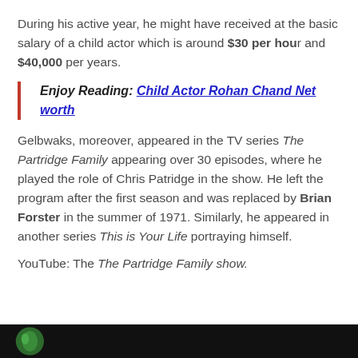During his active year, he might have received at the basic salary of a child actor which is around $30 per hour and $40,000 per years.
Enjoy Reading: Child Actor Rohan Chand Net worth
Gelbwaks, moreover, appeared in the TV series The Partridge Family appearing over 30 episodes, where he played the role of Chris Patridge in the show. He left the program after the first season and was replaced by Brian Forster in the summer of 1971. Similarly, he appeared in another series This is Your Life portraying himself.
YouTube: The The Partridge Family show.
[Figure (photo): Bottom strip of a dark/black background image, possibly a video thumbnail, with a partial circular green element visible at the left.]